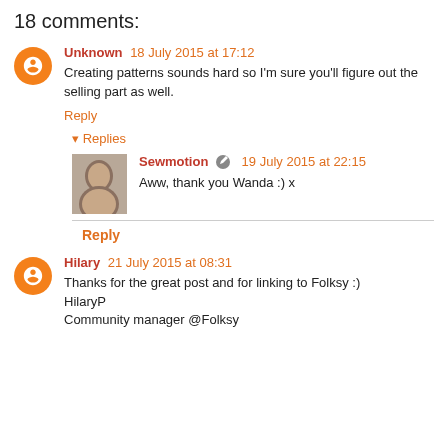18 comments:
Unknown 18 July 2015 at 17:12
Creating patterns sounds hard so I'm sure you'll figure out the selling part as well.
Reply
Replies
Sewmotion 19 July 2015 at 22:15
Aww, thank you Wanda :) x
Reply
Hilary 21 July 2015 at 08:31
Thanks for the great post and for linking to Folksy :)
HilaryP
Community manager @Folksy